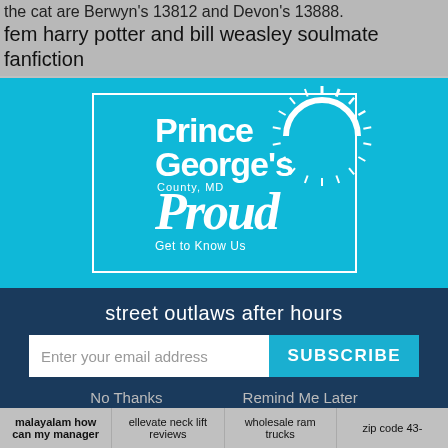the cat are Berwyn's 13812 and Devon's 13888.
fem harry potter and bill weasley soulmate fanfiction
[Figure (logo): Prince George's County, MD Proud - Get to Know Us logo on cyan/teal background inside a white border rectangle with a sun graphic]
street outlaws after hours
Enter your email address
SUBSCRIBE
No Thanks
Remind Me Later
malayalam how can my manager
ellevate neck lift reviews
wholesale ram trucks
zip code 43-